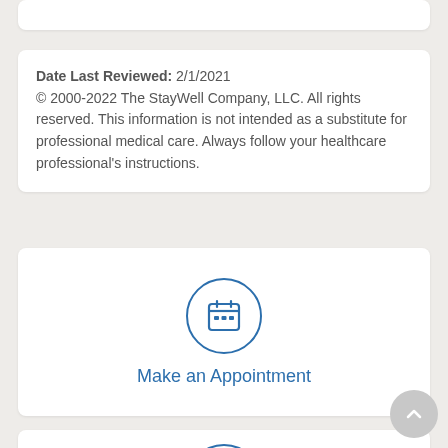Date Last Reviewed: 2/1/2021
© 2000-2022 The StayWell Company, LLC. All rights reserved. This information is not intended as a substitute for professional medical care. Always follow your healthcare professional's instructions.
[Figure (illustration): Blue calendar icon inside a circular border, for Make an Appointment section]
Make an Appointment
[Figure (illustration): Blue bandage/cross icon inside a circular border, for a find-a-doctor or related section]